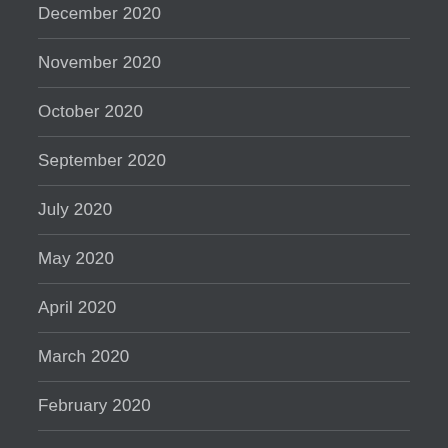December 2020
November 2020
October 2020
September 2020
July 2020
May 2020
April 2020
March 2020
February 2020
January 2020
December 2019
November 2019